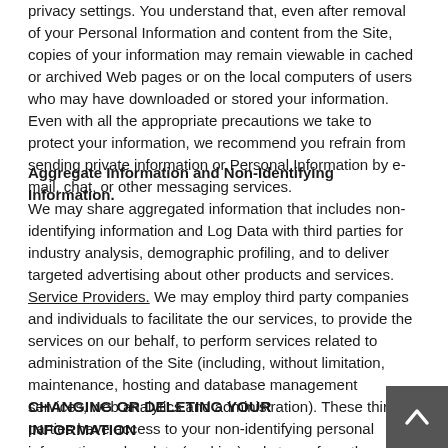privacy settings. You understand that, even after removal of your Personal Information and content from the Site, copies of your information may remain viewable in cached or archived Web pages or on the local computers of users who may have downloaded or stored your information. Even with all the appropriate precautions we take to protect your information, we recommend you refrain from sending private information or Personal Information by e-mail, chat, or other messaging services.
Aggregate Information and Non-Identifying Information.
We may share aggregated information that includes non-identifying information and Log Data with third parties for industry analysis, demographic profiling, and to deliver targeted advertising about other products and services. Service Providers. We may employ third party companies and individuals to facilitate the our services, to provide the services on our behalf, to perform services related to administration of the Site (including, without limitation, maintenance, hosting and database management services, web analytics and administration). These third parties have access to your non-identifying personal information or log data (cookies) only to perform these tasks on our behalf and are obligated not to disclose or use it for any other purpose.
CHANGING OR DELETING YOUR INFORMATION